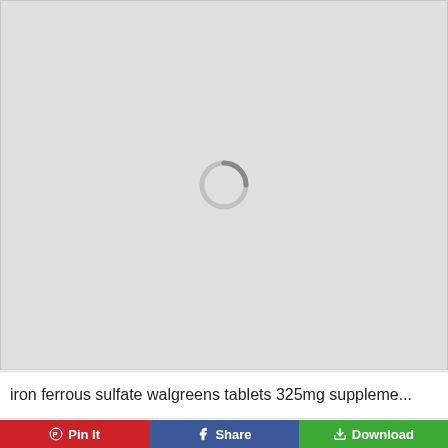[Figure (other): Light gray loading placeholder area with a circular loading spinner icon in the center]
iron ferrous sulfate walgreens tablets 325mg suppleme...
Pin It   Share   Download